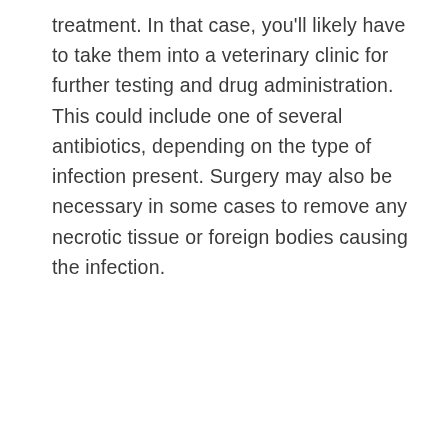treatment. In that case, you'll likely have to take them into a veterinary clinic for further testing and drug administration. This could include one of several antibiotics, depending on the type of infection present. Surgery may also be necessary in some cases to remove any necrotic tissue or foreign bodies causing the infection.